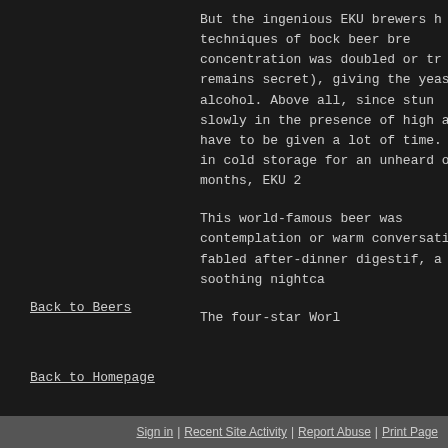But the ingenious EKU brewers h techniques of bock beer bre concentration was doubled or tr remains secret), giving the yeas alcohol. Above all, since stun slowly in the presence of high a have to be given a lot of time. in cold storage for an unheard o months, EKU 2
This world-famous beer was contemplation or warm conversati fabled after-dinner digestif, a soothing nightca
The four-star Worl
Back to Beers
Back to Homepage
Sign in | Recent Site Activity | Report Abuse | Print Page